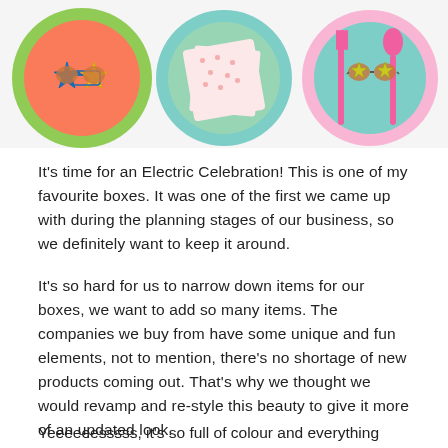[Figure (photo): Colorful party plates with star-shaped sunglasses, patterned napkins, and neon pink utensils on pastel colored plates arranged on a white surface]
It's time for an Electric Celebration! This is one of my favourite boxes. It was one of the first we came up with during the planning stages of our business, so we definitely want to keep it around.
It's so hard for us to narrow down items for our boxes, we want to add so many items. The companies we buy from have some unique and fun elements, not to mention, there's no shortage of new products coming out. That's why we thought we would revamp and re-style this beauty to give it more of an updated look.
So......have a look at the NEW and IMPROVED....I Heart Neon Box.
Yeeeeeesssss, it's so full of colour and everything happy, we